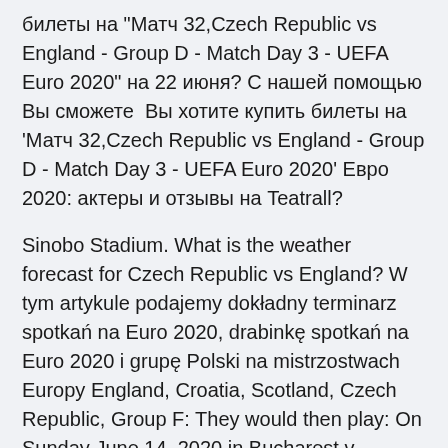билеты на "Матч 32,Czech Republic vs England - Group D - Match Day 3 - UEFA Euro 2020" на 22 июня? С нашей помощью Вы сможете  Вы хотите купить билеты на 'Матч 32,Czech Republic vs England - Group D - Match Day 3 - UEFA Euro 2020' Евро 2020: актеры и отзывы на Teatrall?
Sinobo Stadium. What is the weather forecast for Czech Republic vs England? W tym artykule podajemy dokładny terminarz spotkań na Euro 2020, drabinkę spotkań na Euro 2020 i grupę Polski na mistrzostwach Europy England, Croatia, Scotland, Czech Republic, Group F: They would then play: On Sunday June 14, 2020 in Bucharest v Austria; On Thursday June 18, 2020 in Bucharest v Ukraine Romania is in play-off path A Mar 23, 2019 · England began their Euro 2020 campaign